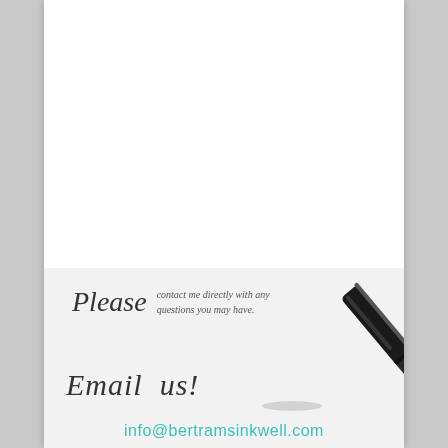[Figure (illustration): Bottom section of a document page with a light gray background. Contains the word 'Please' in italic serif font followed by small text 'contact me directly with any questions you may have.' Below that is handwritten-style text 'Email us!' with a fountain pen nib drawn nearby. At the bottom is the email address info@bertramsinkwell.com in teal/cyan color. A realistic fountain pen is shown in the upper right of the section.]
Please contact me directly with any questions you may have.
Email us!
info@bertramsinkwell.com